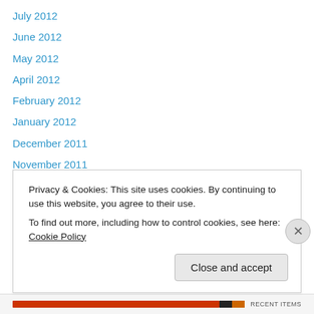July 2012
June 2012
May 2012
April 2012
February 2012
January 2012
December 2011
November 2011
October 2011
September 2011
August 2011
July 2011
June 2011
Privacy & Cookies: This site uses cookies. By continuing to use this website, you agree to their use. To find out more, including how to control cookies, see here: Cookie Policy